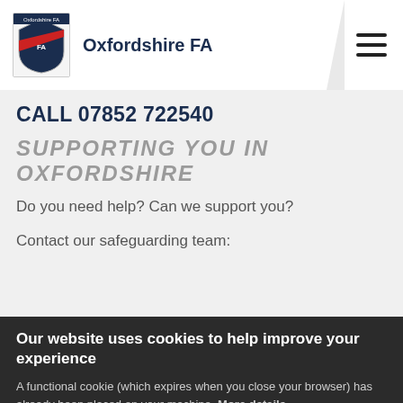Oxfordshire FA
CALL 07852 722540
SUPPORTING YOU IN OXFORDSHIRE
Do you need help? Can we support you?
Contact our safeguarding team:
Our website uses cookies to help improve your experience
A functional cookie (which expires when you close your browser) has already been placed on your machine. More details
ACCEPT COOKIES